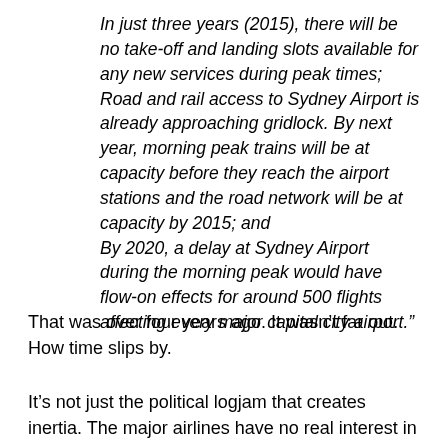In just three years (2015), there will be no take-off and landing slots available for any new services during peak times; Road and rail access to Sydney Airport is already approaching gridlock. By next year, morning peak trains will be at capacity before they reach the airport stations and the road network will be at capacity by 2015; and By 2020, a delay at Sydney Airport during the morning peak would have flow-on effects for around 500 flights affecting every major capital city airport.”
That was over four years ago. It wasn’t far out. How time slips by.
It’s not just the political logjam that creates inertia. The major airlines have no real interest in